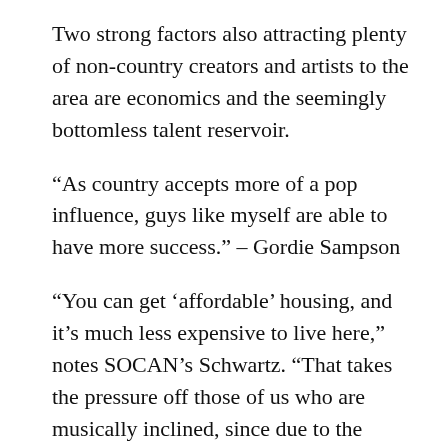Two strong factors also attracting plenty of non-country creators and artists to the area are economics and the seemingly bottomless talent reservoir.
“As country accepts more of a pop influence, guys like myself are able to have more success.” – Gordie Sampson
“You can get ‘affordable’ housing, and it’s much less expensive to live here,” notes SOCAN’s Schwartz. “That takes the pressure off those of us who are musically inclined, since due to the nature of the business, you don’t know what next month’s income might be. So in a place like Nashville, it’s very helpful.
“Plus there are tremendous resources – the studios, the musicians, all of the infrastructure